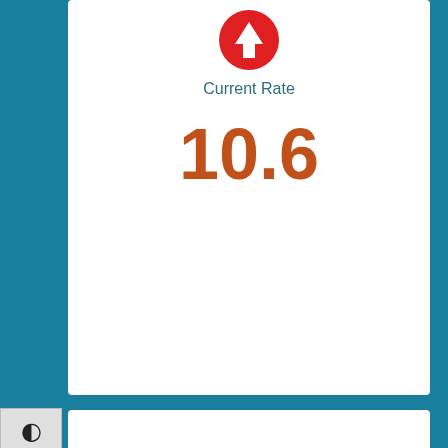[Figure (infographic): Red circular icon with white upward arrow indicating rate increase]
Current Rate
10.6
Target
TBD